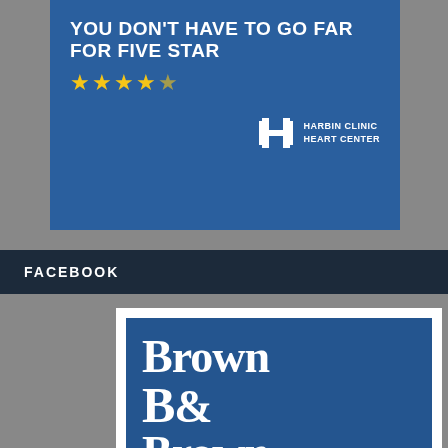[Figure (screenshot): Blue banner advertisement for Harbin Clinic Heart Center with text YOU DON'T HAVE TO GO FAR FOR FIVE STAR, four and a half gold stars, and the Harbin Clinic Heart Center logo]
FACEBOOK
[Figure (logo): Brown & Brown Insurance logo: blue square with stylized double-B monogram and serif text Brown & Brown, red bar beneath, then INSURANCE in black uppercase letters with registered trademark symbol]